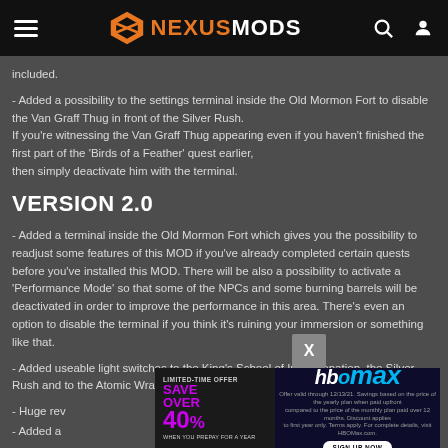NEXUSMODS
included.
- Added a possibility to the settings terminal inside the Old Mormon Fort to disable the Van Graff Thug in front of the Silver Rush.
If you're witnessing the Van Graff Thug appearing even if you haven't finished the first part of the 'Birds of a Feather' quest earlier, then simply deactivate him with the terminal.
VERSION 2.0
- Added a terminal inside the Old Mormon Fort which gives you the possibility to readjust some features of this MOD if you've already completed certain quests before you've installed this MOD. There will be also a possibility to activate a 'Performance Mode' so that some of the NPCs and some burning barrels will be deactivated in order to improve the performance in this area. There's even an option to disable the terminal if you think it's ruining your immersion or something like that.
- Added useable light switches to the King's School of Impersonation, the Silver Rush and to the Atomic Wrangler.
- Huge rev
- Added a
[Figure (screenshot): HBO Max advertisement overlay: LIMITED-TIME OFFER SAVE OVER 40% WHEN YOU PREPAY FOR A YEAR, with HBO Max logo and SIGN UP NOW button]